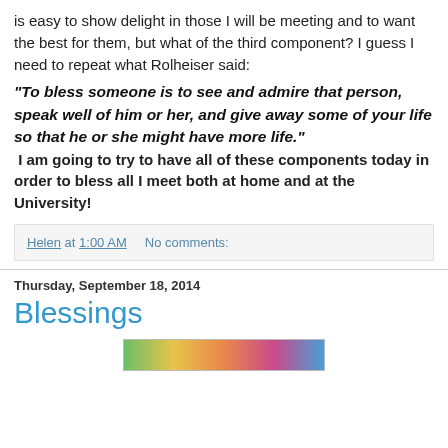is easy to show delight in those I will be meeting and to want the best for them, but what of the third component? I guess I need to repeat what Rolheiser said:
"To bless someone is to see and admire that person, speak well of him or her, and give away some of your life so that he or she might have more life."
I am going to try to have all of these components today in order to bless all I meet both at home and at the University!
Helen at 1:00 AM    No comments:
Thursday, September 18, 2014
Blessings
[Figure (photo): Partial image visible at bottom of page]